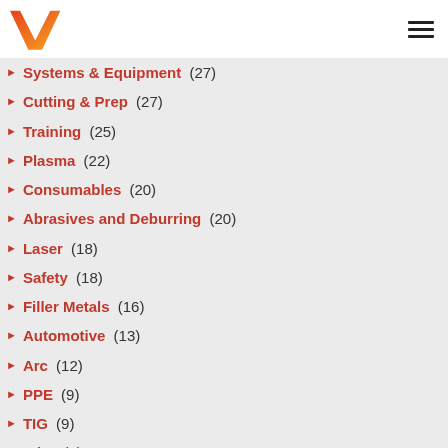W logo + hamburger menu
Systems & Equipment (27)
Cutting & Prep (27)
Training (25)
Plasma (22)
Consumables (20)
Abrasives and Deburring (20)
Laser (18)
Safety (18)
Filler Metals (16)
Automotive (13)
Arc (12)
PPE (9)
TIG (9)
Wire (8)
Oxyacetylene (7)
Trade Shows (6)